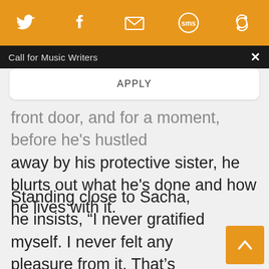[Figure (other): Orange social sharing toolbar with Twitter, Facebook, email, SMS, and another icon]
Call for Music Writers
APPLY
front door, and for a moment, before he's hustled away by his protective sister, he blurts out what he's done and how he lives with it.
Standing close to Sacha, he insists, “I never gratified myself. I never felt any pleasure from it. That’s important to understand.” Her face mirrors yours in this moment, uncomprehending, horrified, undone.